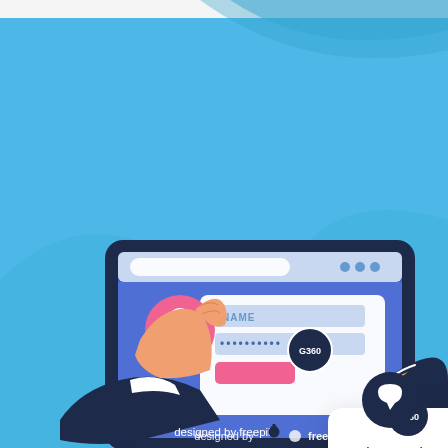[Figure (illustration): Flat design illustration of a person's hands interacting with a tablet showing a login screen with NAME field and password dots. A chat popup bubble reads 'Welcome - how can we help you today?' with a G360 logo badge. A dark navy chat icon button appears bottom right. Light blue background with decorative blue waves. Footer says 'designed by freepik'.]